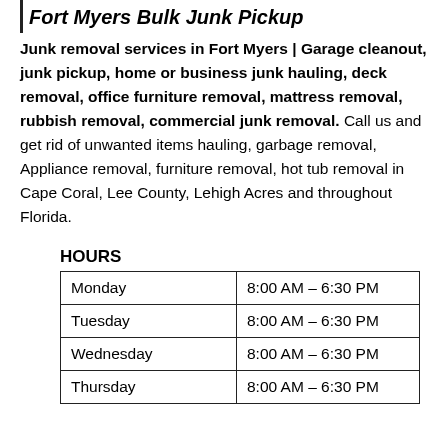| Fort Myers Bulk Junk Pickup
Junk removal services in Fort Myers | Garage cleanout, junk pickup, home or business junk hauling, deck removal, office furniture removal, mattress removal, rubbish removal, commercial junk removal. Call us and get rid of unwanted items hauling, garbage removal, Appliance removal, furniture removal, hot tub removal in Cape Coral, Lee County, Lehigh Acres and throughout Florida.
HOURS
| Monday | 8:00 AM – 6:30 PM |
| Tuesday | 8:00 AM – 6:30 PM |
| Wednesday | 8:00 AM – 6:30 PM |
| Thursday | 8:00 AM – 6:30 PM |